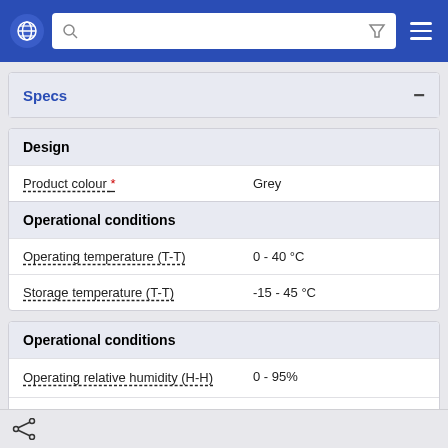Navigation bar with globe, search, filter, and menu icons
Specs
| Property | Value |
| --- | --- |
| Design |  |
| Product colour * | Grey |
| Operational conditions |  |
| Operating temperature (T-T) | 0 - 40 °C |
| Storage temperature (T-T) | -15 - 45 °C |
| Property | Value |
| --- | --- |
| Operational conditions |  |
| Operating relative humidity (H-H) | 0 - 95% |
| Storage relative humidity (H-H) | 0 - 95% |
| Operating altitude | 0 - 3000 m |
Share icon